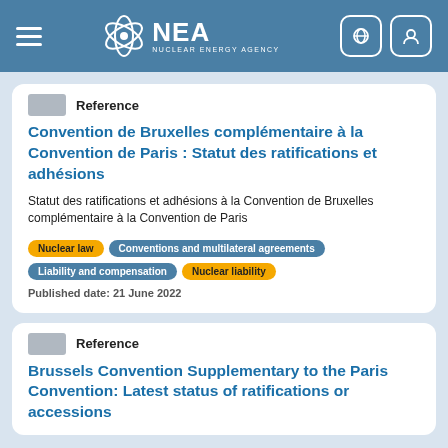NEA Nuclear Energy Agency
Reference
Convention de Bruxelles complémentaire à la Convention de Paris : Statut des ratifications et adhésions
Statut des ratifications et adhésions à la Convention de Bruxelles complémentaire à la Convention de Paris
Nuclear law
Conventions and multilateral agreements
Liability and compensation
Nuclear liability
Published date: 21 June 2022
Reference
Brussels Convention Supplementary to the Paris Convention: Latest status of ratifications or accessions